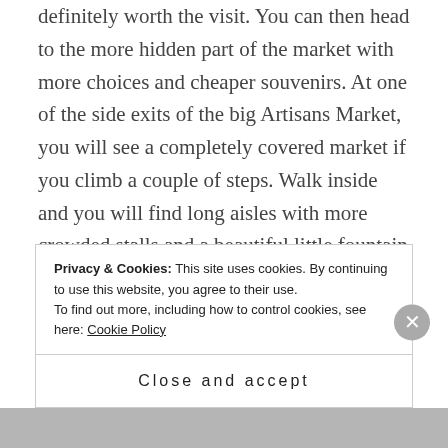definitely worth the visit. You can then head to the more hidden part of the market with more choices and cheaper souvenirs. At one of the side exits of the big Artisans Market, you will see a completely covered market if you climb a couple of steps. Walk inside and you will find long aisles with more crowded stalls and a beautiful little fountain square in the middle. Make sure you bargain because vendors will make sure to triple the price for tourists! Since the hidden part of the market is closest to the bus terminal, exit from there
Privacy & Cookies: This site uses cookies. By continuing to use this website, you agree to their use. To find out more, including how to control cookies, see here: Cookie Policy
Close and accept